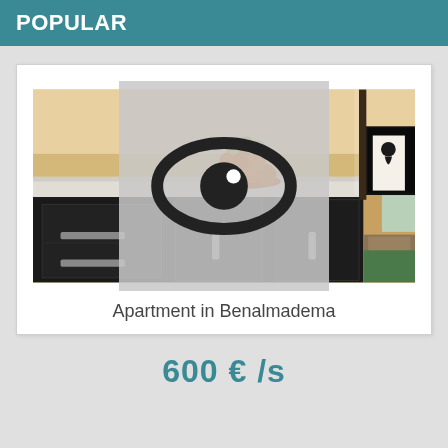POPULAR
[Figure (photo): Interior photo of an apartment kitchen showing dark cabinets with a white countertop and a tiered fruit stand with oranges and apples, with living room visible in background]
Apartment in Benalmadema
600 € /s